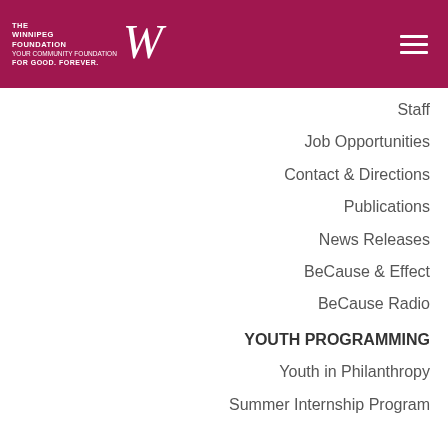[Figure (logo): The Winnipeg Foundation logo with W mark and tagline 'Your Community Foundation For Good. Forever.' on dark pink/magenta background with hamburger menu icon]
Staff
Job Opportunities
Contact & Directions
Publications
News Releases
BeCause & Effect
BeCause Radio
YOUTH PROGRAMMING
Youth in Philanthropy
Summer Internship Program